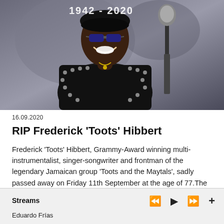[Figure (photo): Photo of Frederick 'Toots' Hibbert performing on stage, wearing a black studded vest and sunglasses, smiling while at a microphone. Overlay text '1942 - 2020' visible in the upper left.]
16.09.2020
RIP Frederick 'Toots' Hibbert
Frederick 'Toots' Hibbert, Grammy-Award winning multi-instrumentalist, singer-songwriter and frontman of the legendary Jamaican group 'Toots and the Maytals', sadly passed away on Friday 11th September at the age of 77.The news was confirme…
Streams   Eduardo Frías